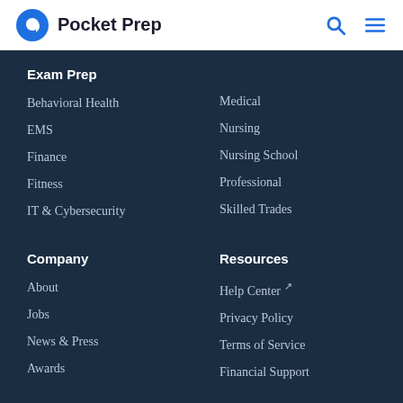Pocket Prep
Exam Prep
Behavioral Health
Medical
EMS
Nursing
Finance
Nursing School
Fitness
Professional
IT & Cybersecurity
Skilled Trades
Company
Resources
About
Help Center ↗
Jobs
Privacy Policy
News & Press
Terms of Service
Awards
Financial Support